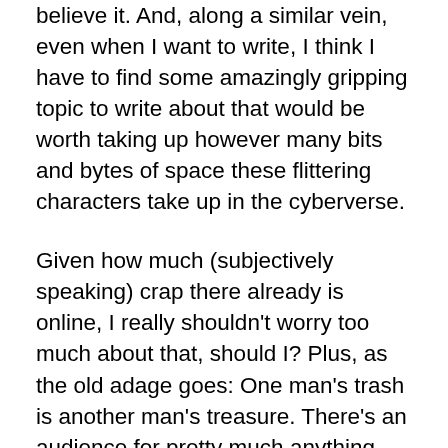believe it. And, along a similar vein, even when I want to write, I think I have to find some amazingly gripping topic to write about that would be worth taking up however many bits and bytes of space these flittering characters take up in the cyberverse.
Given how much (subjectively speaking) crap there already is online, I really shouldn't worry too much about that, should I? Plus, as the old adage goes: One man's trash is another man's treasure. There's an audience for pretty much anything and everything on here.
Finally, I should admit that I really don't like to practice anything. If I'm interested in doing something, I just want to automatically be at least decent at it. Years ago, for another birthday milestone, I had challenged myself to learn to paint watercolours. I signed up for a course and